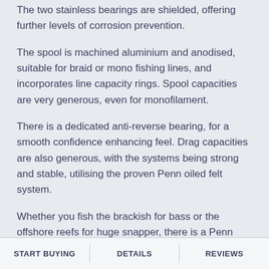The two stainless bearings are shielded, offering further levels of corrosion prevention.
The spool is machined aluminium and anodised, suitable for braid or mono fishing lines, and incorporates line capacity rings. Spool capacities are very generous, even for monofilament.
There is a dedicated anti-reverse bearing, for a smooth confidence enhancing feel. Drag capacities are also generous, with the systems being strong and stable, utilising the proven Penn oiled felt system.
Whether you fish the brackish for bass or the offshore reefs for huge snapper, there is a Penn Wrath reel for you. You can fish hard, and fish
START BUYING   DETAILS   REVIEWS